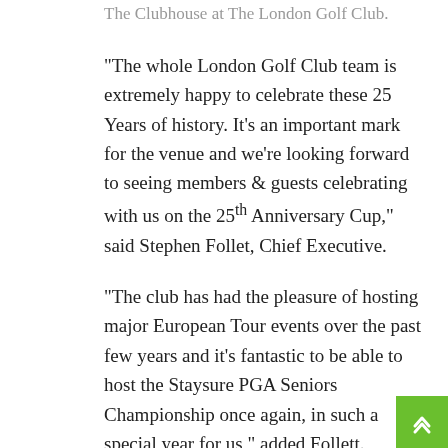The Clubhouse at The London Golf Club.
“The whole London Golf Club team is extremely happy to celebrate these 25 Years of history. It’s an important mark for the venue and we’re looking forward to seeing members & guests celebrating with us on the 25th Anniversary Cup,” said Stephen Follet, Chief Executive.
“The club has had the pleasure of hosting major European Tour events over the past few years and it’s fantastic to be able to host the Staysure PGA Seniors Championship once again, in such a special year for us,” added Follett.